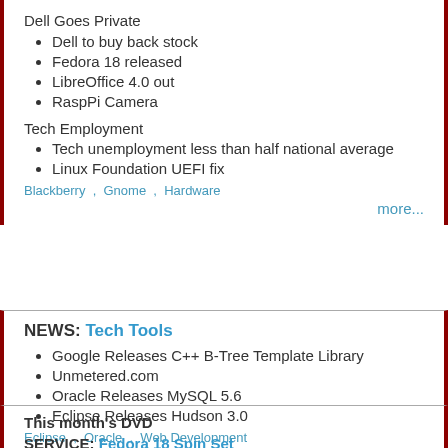Dell Goes Private
Dell to buy back stock
Fedora 18 released
LibreOffice 4.0 out
RaspPi Camera
Tech Employment
Tech unemployment less than half national average
Linux Foundation UEFI fix
Blackberry , Gnome , Hardware
more...
NEWS: Tech Tools
Google Releases C++ B-Tree Template Library
Unmetered.com
Oracle Releases MySQL 5.6
Eclipse Releases Hudson 3.0
Eclipse , Oracle , Web Development
more...
This month's DVD
SERVICE: Fedora 18 Spin Set